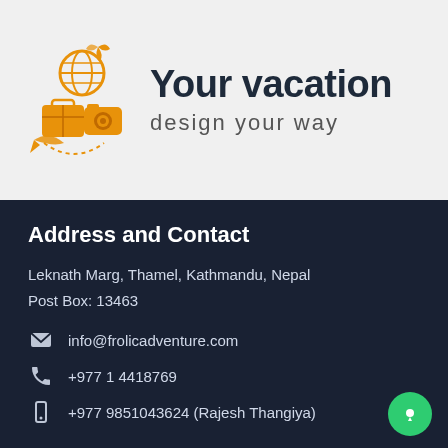[Figure (logo): Your vacation design your way travel logo with orange icons: globe, camera, butterfly, suitcase, arrow]
Your vacation
design your way
Address and Contact
Leknath Marg, Thamel, Kathmandu, Nepal
Post Box: 13463
info@frolicadventure.com
+977 1 4418769
+977 9851043624 (Rajesh Thangiya)